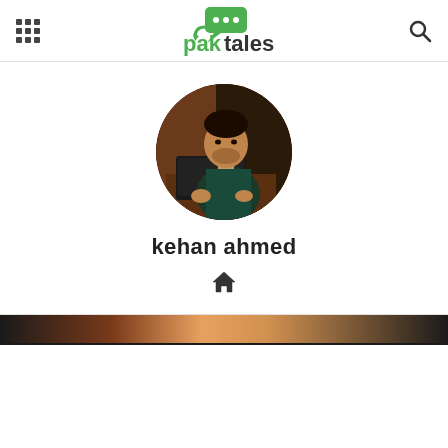paktales
[Figure (photo): Circular profile photo of a young man sitting at a desk with a laptop, wearing a dark jacket]
kehan ahmed
[Figure (other): Home icon symbol]
[Figure (photo): Partial image strip visible at bottom of page]